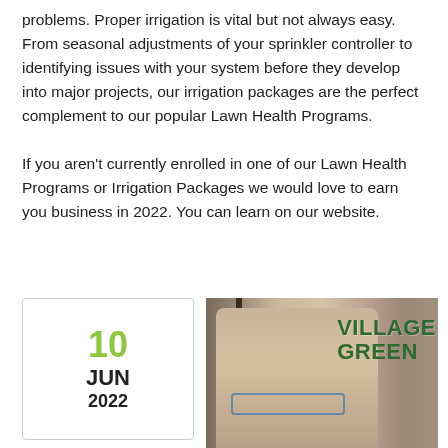problems. Proper irrigation is vital but not always easy. From seasonal adjustments of your sprinkler controller to identifying issues with your system before they develop into major projects, our irrigation packages are the perfect complement to our popular Lawn Health Programs.
If you aren't currently enrolled in one of our Lawn Health Programs or Irrigation Packages we would love to earn you business in 2022. You can learn on our website.
10 JUN 2022
[Figure (photo): Photo of a man wearing glasses in front of a Village Green sign with green text]